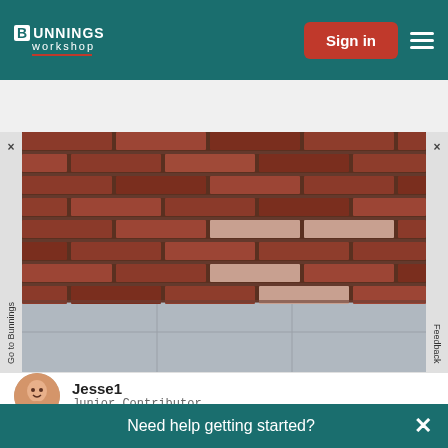Bunnings Workshop — Sign in
Search discussions and advice
[Figure (photo): A brick wall with reddish-brown bricks and a light grey concrete or tile floor visible at the bottom.]
Jesse1
Junior Contributor
How to attach VJ board for a feature wall?
Need help getting started?